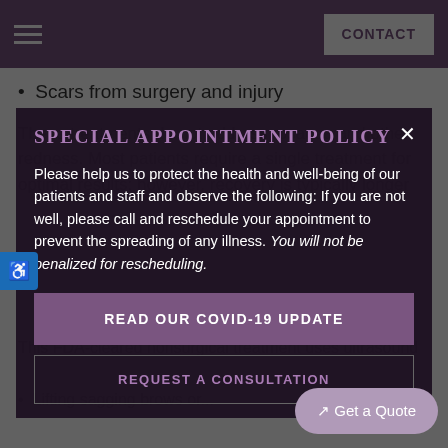CONTACT
Scars from surgery and injury
These treatments do not address rosacea and other redness. Most patients require a single treatment for optimal results; however, recovery is typically longer
SPECIAL APPOINTMENT POLICY
Please help us to protect the health and well-being of our patients and staff and observe the following: If you are not well, please call and reschedule your appointment to prevent the spreading of any illness. You will not be penalized for rescheduling.
This FDA-cleared nonsurgical treatment uses ultrasound
READ OUR COVID-19 UPDATE
REQUEST A CONSULTATION
Lifting sagging brows or...
↗ Get a Quote